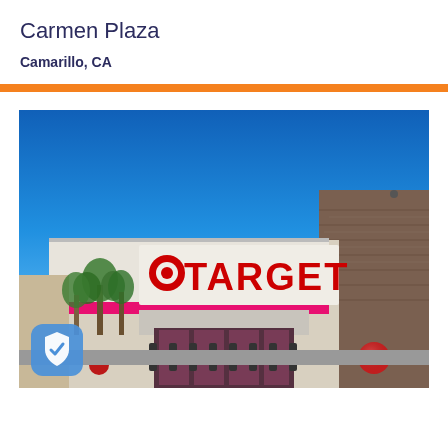Carmen Plaza
Camarillo, CA
[Figure (photo): Exterior photo of a Target store at Carmen Plaza in Camarillo, CA. The building features a large white fascia with a red TARGET sign and bullseye logo, flanked by a stone/brick wall on the right. Palm trees are visible to the left. The foreground shows an empty parking lot with bollards and a red sphere. Clear blue sky above.]